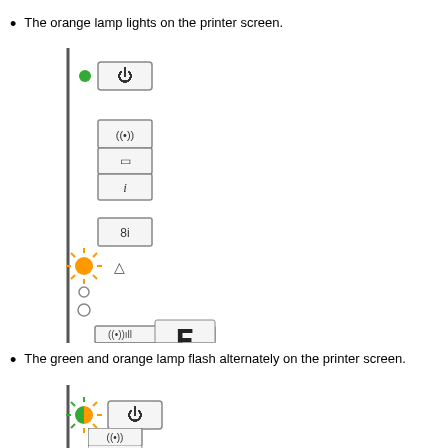The orange lamp lights on the printer screen.
[Figure (illustration): Printer screen diagram showing: green dot with power button, wireless/network buttons, info button, numbered button, orange sunburst with warning triangle, small circle, large display panel showing signal bars and E character with A4 paper tray]
The green and orange lamp flash alternately on the printer screen.
[Figure (illustration): Printer screen diagram showing: flashing green/orange sunburst with power button, wireless button, and paper/SD card button]